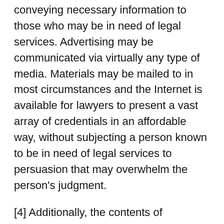conveying necessary information to those who may be in need of legal services. Advertising may be communicated via virtually any type of media. Materials may be mailed to in most circumstances and the Internet is available for lawyers to present a vast array of credentials in an affordable way, without subjecting a person known to be in need of legal services to persuasion that may overwhelm the person's judgment.
[4] Additionally, the contents of advertising and other non-direct communications permitted in these rules can be permanently recorded so that they cannot be disputed. This potential for informal review is itself likely to help guard against statements and claims that might constitute false or misleading communications in violation of Rule 7.1. The contents of direct communications between a lawyer and a person known